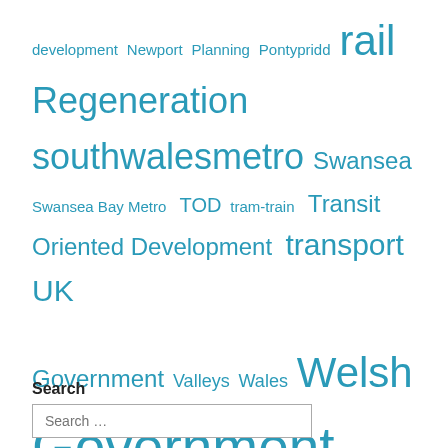development Newport Planning Pontypridd rail Regeneration southwalesmetro Swansea Swansea Bay Metro TOD tram-train Transit Oriented Development transport UK Government Valleys Wales Welsh Government
Search
Search …